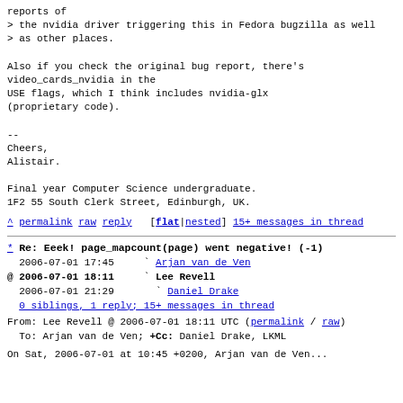reports of
> the nvidia driver triggering this in Fedora bugzilla as well
> as other places.

Also if you check the original bug report, there's video_cards_nvidia in the
USE flags, which I think includes nvidia-glx
(proprietary code).

--
Cheers,
Alistair.

Final year Computer Science undergraduate.
1F2 55 South Clerk Street, Edinburgh, UK.
^ permalink raw reply   [flat|nested] 15+ messages in thread
* Re: Eeek! page_mapcount(page) went negative! (-1)
  2006-07-01 17:45     ` Arjan van de Ven
@ 2006-07-01 18:11     ` Lee Revell
  2006-07-01 21:29       ` Daniel Drake
  0 siblings, 1 reply; 15+ messages in thread
From: Lee Revell @ 2006-07-01 18:11 UTC (permalink / raw)
  To: Arjan van de Ven; +Cc: Daniel Drake, LKML
On Sat, 2006-07-01 at 10:45 +0200, Arjan van de Ven...